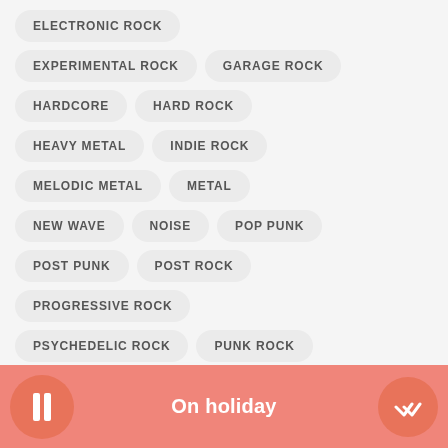ELECTRONIC ROCK
EXPERIMENTAL ROCK
GARAGE ROCK
HARDCORE
HARD ROCK
HEAVY METAL
INDIE ROCK
MELODIC METAL
METAL
NEW WAVE
NOISE
POP PUNK
POST PUNK
POST ROCK
PROGRESSIVE ROCK
PSYCHEDELIC ROCK
PUNK ROCK
On holiday